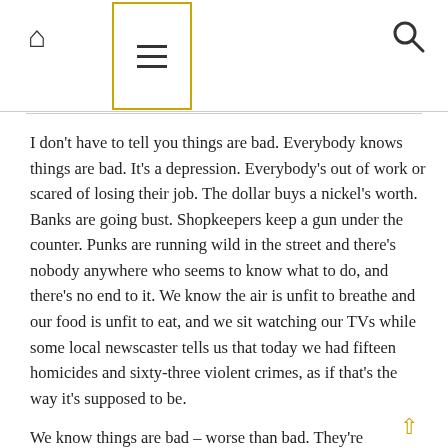Home | Menu | Search
I don't have to tell you things are bad. Everybody knows things are bad. It's a depression. Everybody's out of work or scared of losing their job. The dollar buys a nickel's worth. Banks are going bust. Shopkeepers keep a gun under the counter. Punks are running wild in the street and there's nobody anywhere who seems to know what to do, and there's no end to it. We know the air is unfit to breathe and our food is unfit to eat, and we sit watching our TVs while some local newscaster tells us that today we had fifteen homicides and sixty-three violent crimes, as if that's the way it's supposed to be.
We know things are bad – worse than bad. They're